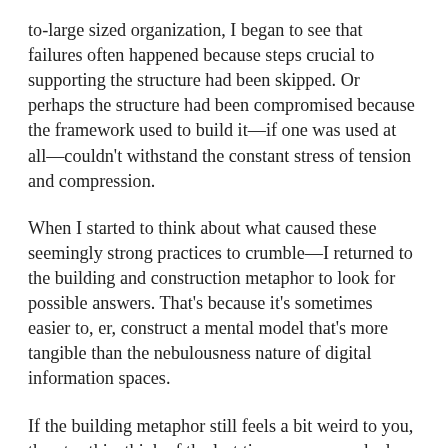to-large sized organization, I began to see that failures often happened because steps crucial to supporting the structure had been skipped. Or perhaps the structure had been compromised because the framework used to build it—if one was used at all—couldn't withstand the constant stress of tension and compression.
When I started to think about what caused these seemingly strong practices to crumble—I returned to the building and construction metaphor to look for possible answers. That's because it's sometimes easier to, er, construct a mental model that's more tangible than the nebulousness nature of digital information spaces.
If the building metaphor still feels a bit weird to you, then try this: think of the last time someone asked what you did for a living. If you're a UX practitioner, or if you collaborate with members of a UX team, you've likely experienced the feeling of the listener's eyes glazing over as you tried to explain the